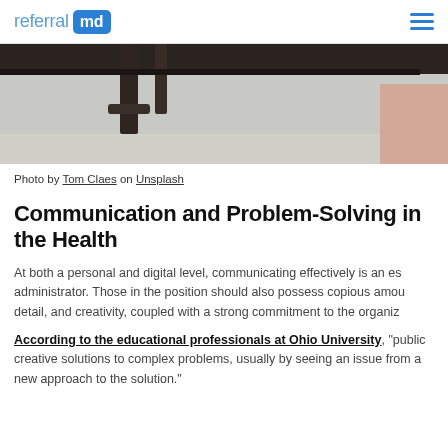referral md
[Figure (photo): Partial photograph of a desk area with dark chair legs and wooden surface on a light floor, cropped at the top of the frame. Skin-toned element visible on right edge.]
Photo by Tom Claes on Unsplash
Communication and Problem-Solving in the Health
At both a personal and digital level, communicating effectively is an es administrator. Those in the position should also possess copious amou detail, and creativity, coupled with a strong commitment to the organiz
According to the educational professionals at Ohio University, "public creative solutions to complex problems, usually by seeing an issue from a new approach to the solution."